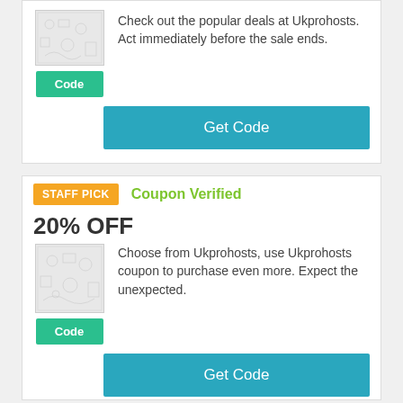Check out the popular deals at Ukprohosts. Act immediately before the sale ends.
Get Code
STAFF PICK
Coupon Verified
20% OFF
Choose from Ukprohosts, use Ukprohosts coupon to purchase even more. Expect the unexpected.
Get Code